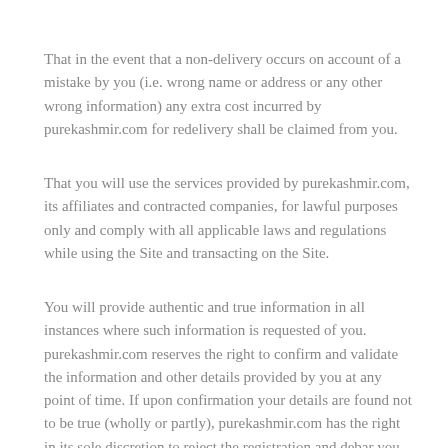That in the event that a non-delivery occurs on account of a mistake by you (i.e. wrong name or address or any other wrong information) any extra cost incurred by purekashmir.com for redelivery shall be claimed from you.
That you will use the services provided by purekashmir.com, its affiliates and contracted companies, for lawful purposes only and comply with all applicable laws and regulations while using the Site and transacting on the Site.
You will provide authentic and true information in all instances where such information is requested of you. purekashmir.com reserves the right to confirm and validate the information and other details provided by you at any point of time. If upon confirmation your details are found not to be true (wholly or partly), purekashmir.com has the right in its sole discretion to reject the registration and debar you from using the Services of purekashmir.com and / or other affiliated websites without prior intimation whatsoever.